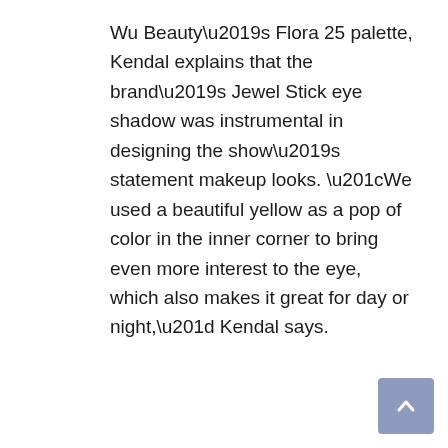Wu Beauty’s Flora 25 palette, Kendal explains that the brand’s Jewel Stick eye shadow was instrumental in designing the show’s statement makeup looks. “We used a beautiful yellow as a pop of color in the inner corner to bring even more interest to the eye, which also makes it great for day or night,” Kendal says.